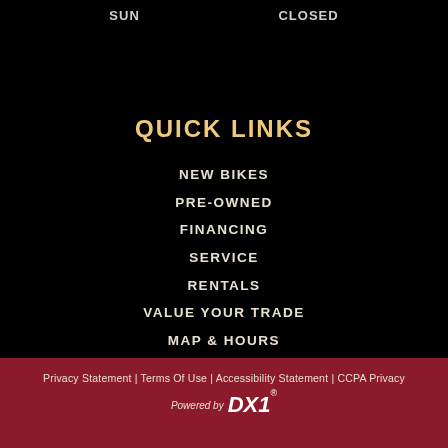SUN    CLOSED
QUICK LINKS
NEW BIKES
PRE-OWNED
FINANCING
SERVICE
RENTALS
VALUE YOUR TRADE
MAP & HOURS
CONTACT US
Privacy Statement | Terms Of Use | Accessibility Statement | CCPA Privacy
Powered by DX1®